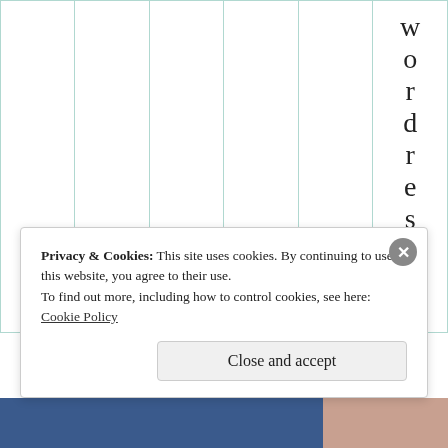|  |  |  |  |  |  |
| --- | --- | --- | --- | --- | --- |
|  |  |  |  |  | wordreseto |
Privacy & Cookies: This site uses cookies. By continuing to use this website, you agree to their use.
To find out more, including how to control cookies, see here: Cookie Policy
Close and accept